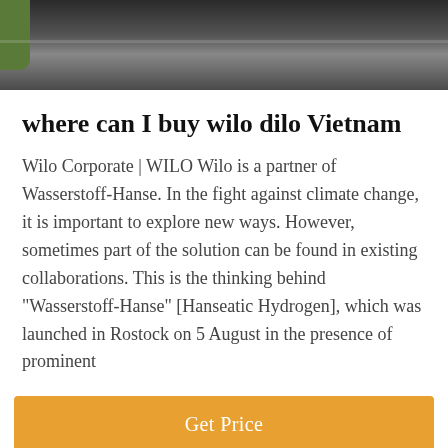[Figure (photo): Top portion of a dark road/pavement image with a green patch on the left side]
where can I buy wilo dilo Vietnam
Wilo Corporate | WILO Wilo is a partner of Wasserstoff-Hanse. In the fight against climate change, it is important to explore new ways. However, sometimes part of the solution can be found in existing collaborations. This is the thinking behind "Wasserstoff-Hanse" [Hanseatic Hydrogen], which was launched in Rostock on 5 August in the presence of prominent
[Figure (other): Orange/amber button with text 'Get Price']
[Figure (photo): Bottom section showing a dark industrial/building background with a customer service representative avatar in the center and a dark bar at the bottom with 'Leave Message' and 'Chat Online' options]